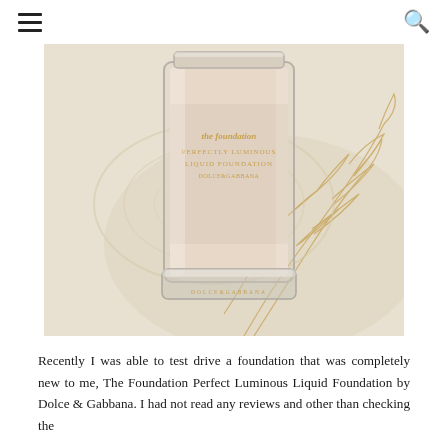≡  🔍
[Figure (photo): Close-up photograph of a Dolce & Gabbana 'The Foundation Perfect Luminous Liquid Foundation' bottle in a clear glass rectangular bottle with gold lettering, resting on a decorative surface with gold filigree patterns on a cream/white background.]
Recently I was able to test drive a foundation that was completely new to me, The Foundation Perfect Luminous Liquid Foundation by Dolce & Gabbana. I had not read any reviews and other than checking the